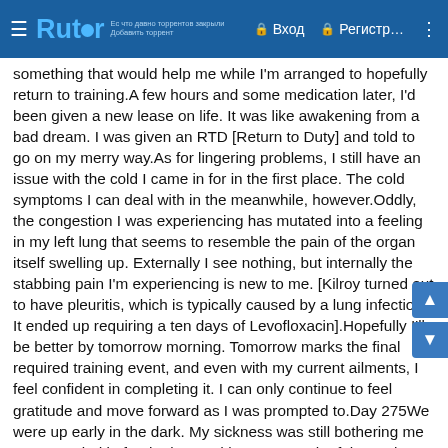Rutor — Вход — Регистр…
something that would help me while I'm arranged to hopefully return to training.A few hours and some medication later, I'd been given a new lease on life. It was like awakening from a bad dream. I was given an RTD [Return to Duty] and told to go on my merry way.As for lingering problems, I still have an issue with the cold I came in for in the first place. The cold symptoms I can deal with in the meanwhile, however.Oddly, the congestion I was experiencing has mutated into a feeling in my left lung that seems to resemble the pain of the organ itself swelling up. Externally I see nothing, but internally the stabbing pain I'm experiencing is new to me. [Kilroy turned out to have pleuritis, which is typically caused by a lung infection. It ended up requiring a ten days of Levofloxacin].Hopefully I'll be better by tomorrow morning. Tomorrow marks the final required training event, and even with my current ailments, I feel confident in completing it. I can only continue to feel gratitude and move forward as I was prompted to.Day 275We were up early in the dark. My sickness was still bothering me as we settled in for the last and longest march of the cycle. The rhythm of the march